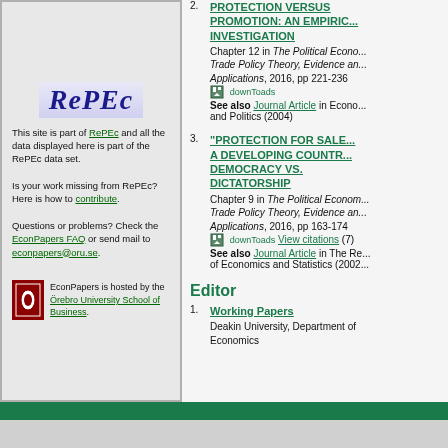2. PROTECTION VERSUS PROMOTION: AN EMPIRICAL INVESTIGATION — Chapter 12 in The Political Economy of Trade Policy Theory, Evidence and Applications, 2016, pp 221-236. See also Journal Article in Economics and Politics (2004)
3. "PROTECTION FOR SALE" IN A DEVELOPING COUNTRY: DEMOCRACY VS. DICTATORSHIP — Chapter 9 in The Political Economy of Trade Policy Theory, Evidence and Applications, 2016, pp 163-174. View citations (7). See also Journal Article in The Review of Economics and Statistics (2002)
[Figure (logo): RePEc logo in italic bold serif font]
This site is part of RePEc and all the data displayed here is part of the RePEc data set.

Is your work missing from RePEc? Here is how to contribute.

Questions or problems? Check the EconPapers FAQ or send mail to econpapers@oru.se.

EconPapers is hosted by the Örebro University School of Business.
Editor
1. Working Papers — Deakin University, Department of Economics